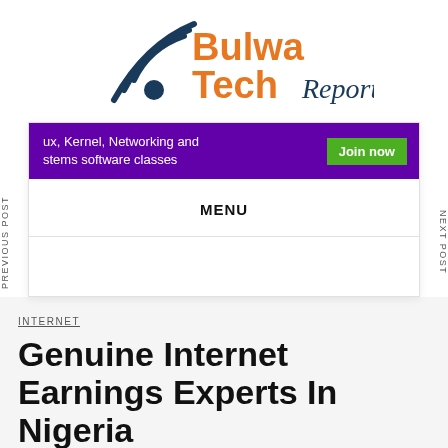[Figure (logo): Bulwa Tech Report logo with WiFi signal icon and stylized text]
[Figure (screenshot): Navigation banner with purple bar showing 'ux, Kernel, Networking and stems software classes' text, green 'Join now' button, MENU text, and PREVIOUS POST / NEXT POST side labels]
INTERNET
Genuine Internet Earnings Experts In Nigeria